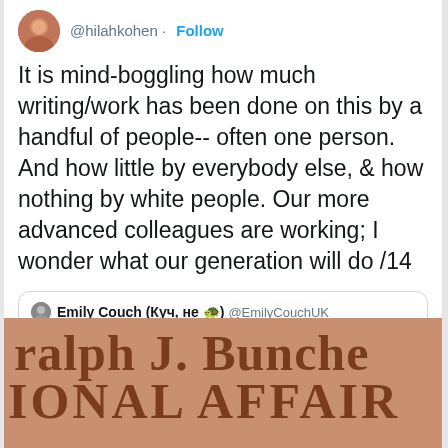[Figure (screenshot): Twitter/social media post screenshot showing a tweet from @hilahkohen with a quoted tweet from @EmilyCouchUK and a photo of a Ralph J. Bunche sign]
@hilahkohen · Follow
It is mind-boggling how much writing/work has been done on this by a handful of people-- often one person. And how little by everybody else, & how nothing by white people. Our more advanced colleagues are working; I wonder what our generation will do /14
Emily Couch (Куч, не 🐢) @EmilyCouchUK
I am but a humble intern, but all I'm saying is: it would be pretty cool if more Russia & Eurasia panels looked like this 🤷‍♀️
#SlavicStudiesSquadGoals @ImaniCrawford @ksvarnon @ToniCrossforFL @FloridianAmber